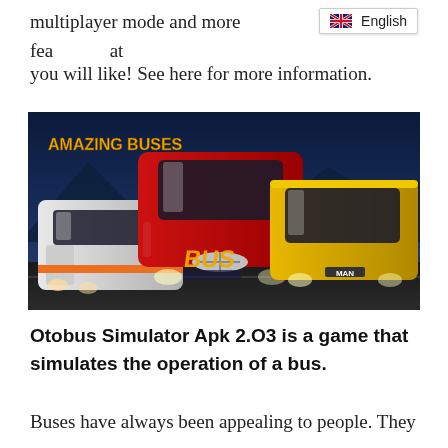multiplayer mode and more features that you will like! See here for more information.
[Figure (screenshot): Bus simulator game promotional image showing three buses (white, red, yellow) with 'AMAZING BUSES' text overlay and 'BUS' logo at the bottom, dark blue night sky background.]
Otobus Simulator Apk 2.O3 is a game that simulates the operation of a bus.
Buses have always been appealing to people. They